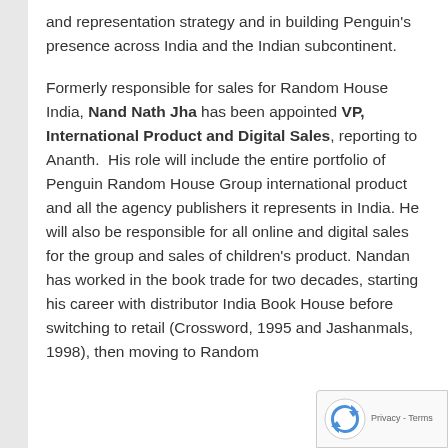and representation strategy and in building Penguin's presence across India and the Indian subcontinent.
Formerly responsible for sales for Random House India, Nand Nath Jha has been appointed VP, International Product and Digital Sales, reporting to Ananth. His role will include the entire portfolio of Penguin Random House Group international product and all the agency publishers it represents in India. He will also be responsible for all online and digital sales for the group and sales of children's product. Nandan has worked in the book trade for two decades, starting his career with distributor India Book House before switching to retail (Crossword, 1995 and Jashanmals, 1998), then moving to Random